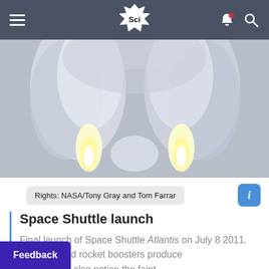Sci — navigation bar with hamburger menu, Sci logo, bell notification and search icons
[Figure (photo): Rocket launch exhaust plumes — Space Shuttle launch showing two large white/glowing rocket booster plumes against a pale sky]
Rights: NASA/Tony Gray and Tom Farrar
Space Shuttle launch
Final launch of Space Shuttle Atlantis on July 8 2011. The two solid rocket boosters produce e thrust, but also notice the faint